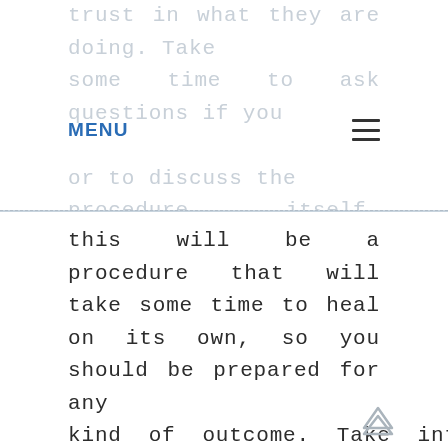trust in what they are doing. Take some time to ask questions if you comfortable, or to discuss the procedure itself. Remember that
MENU ≡
this will be a procedure that will take some time to heal on its own, so you should be prepared for any kind of outcome. Take into consideration any possible side effects that you could develop during the recovery period, and make sure you are aware of these things before signing anything. Once you have met with a plastic surgeon Sydney, whether it is in Sydney Australia or somewhere else in the country, you should ...